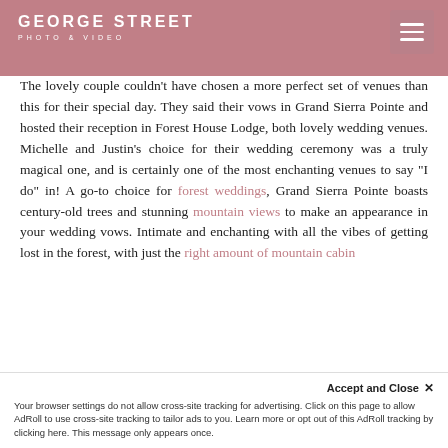GEORGE STREET PHOTO & VIDEO
The lovely couple couldn't have chosen a more perfect set of venues than this for their special day. They said their vows in Grand Sierra Pointe and hosted their reception in Forest House Lodge, both lovely wedding venues. Michelle and Justin's choice for their wedding ceremony was a truly magical one, and is certainly one of the most enchanting venues to say "I do" in! A go-to choice for forest weddings, Grand Sierra Pointe boasts century-old trees and stunning mountain views to make an appearance in your wedding vows. Intimate and enchanting with all the vibes of getting lost in the forest, with just the right amount of mountain cabin charm, Grand Sierra Pointe at Forest House Lodge...
Accept and Close ✕
Your browser settings do not allow cross-site tracking for advertising. Click on this page to allow AdRoll to use cross-site tracking to tailor ads to you. Learn more or opt out of this AdRoll tracking by clicking here. This message only appears once.